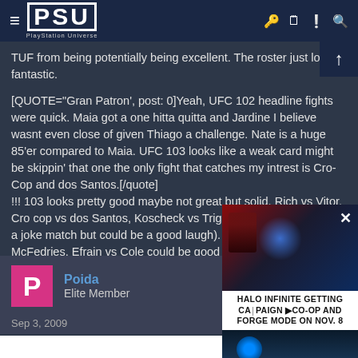PSU — PlayStation Universe
TUF from being potentially being excellent. The roster just looks fantastic.
[QUOTE="Gran Patron', post: 0]Yeah, UFC 102 headline fights were quick. Maia got a one hitta quitta and Jardine I believe wasnt even close of given Thiago a challenge. Nate is a huge 85'er compared to Maia. UFC 103 looks like a weak card might be skippin' that one the only fight that catches my intrest is Cro-Cop and dos Santos.[/quote]
!!! 103 looks pretty good maybe not great but solid. Rich vs Vitor, Cro cop vs dos Santos, Koscheck vs Trigg (sure this is probably a joke match but could be a good laugh). Tomasz Drwal vs McFedries, Efrain vs Cole could be good as well.
The only thing that is a disappoint is Carwin vs Velasquez won't happen anytime soon. But Lesnar vs Carwin should still be good, I bet Velasquez gets next dibs depending on how well he defeats Rothwell.
Poida
Elite Member
Sep 3, 2009
[Figure (screenshot): Advertisement overlay: Halo Infinite Getting Campaign Co-Op and Forge Mode on Nov. 8]